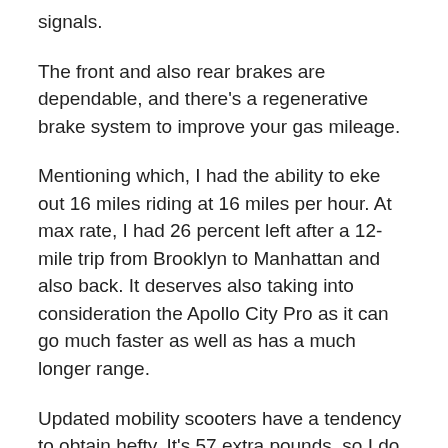signals.
The front and also rear brakes are dependable, and there's a regenerative brake system to improve your gas mileage.
Mentioning which, I had the ability to eke out 16 miles riding at 16 miles per hour. At max rate, I had 26 percent left after a 12-mile trip from Brooklyn to Manhattan and also back. It deserves also taking into consideration the Apollo City Pro as it can go much faster as well as has a much longer range.
Updated mobility scooters have a tendency to obtain hefty. It's 57 extra pounds, so I do not recommend lugging this up a couple of trips of stairways.